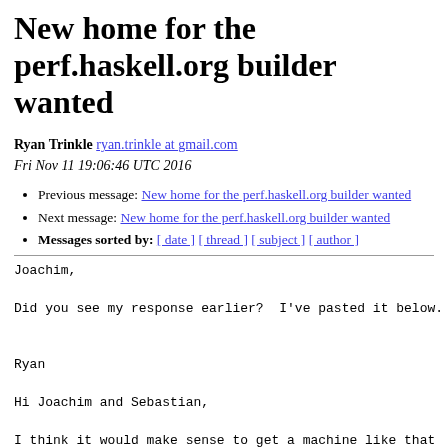New home for the perf.haskell.org builder wanted
Ryan Trinkle ryan.trinkle at gmail.com
Fri Nov 11 19:06:46 UTC 2016
Previous message: New home for the perf.haskell.org builder wanted
Next message: New home for the perf.haskell.org builder wanted
Messages sorted by: [ date ] [ thread ] [ subject ] [ author ]
Joachim,

Did you see my response earlier?  I've pasted it below.


Ryan

Hi Joachim and Sebastian,

I think it would make sense to get a machine like that
with Haskell.org
funds.  My company (Obsidian) would be happy to host it